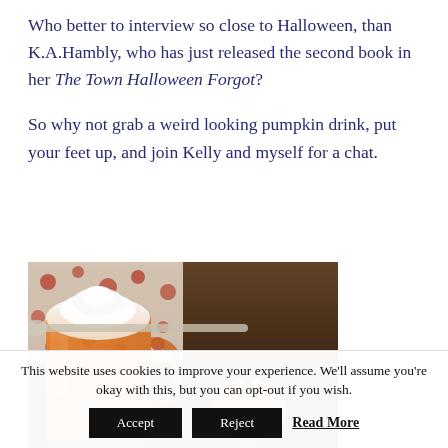Who better to interview so close to Halloween, than K.A.Hambly, who has just released the second book in her The Town Halloween Forgot?

So why not grab a weird looking pumpkin drink, put your feet up, and join Kelly and myself for a chat.
[Figure (photo): A photo of an orange pumpkin drink in a glass mug topped with whipped cream, with a spoon resting across the top, a small decorative pumpkin beside it, and a patterned cloth in the background on a dark wood surface.]
This website uses cookies to improve your experience. We'll assume you're okay with this, but you can opt-out if you wish.